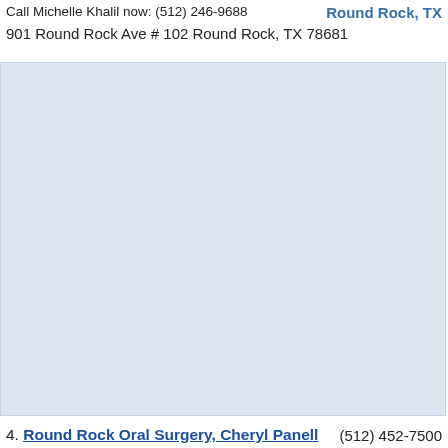Call Michelle Khalil now: (512) 246-9688
Round Rock, TX
901 Round Rock Ave # 102 Round Rock, TX 78681
[Figure (other): Large light blue/grey empty box filling the middle of the page]
4. Round Rock Oral Surgery, Cheryl Panell  (512) 452-7500